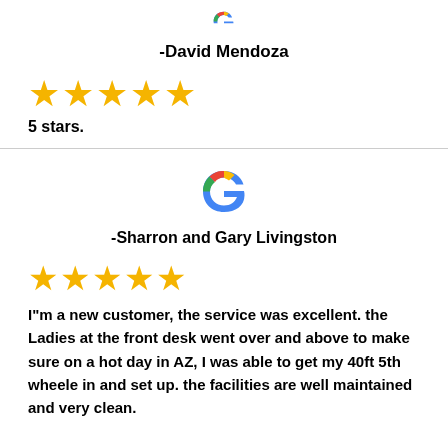[Figure (logo): Google 'G' logo, partially visible at top]
-David Mendoza
[Figure (other): Five gold star rating icons]
5 stars.
[Figure (logo): Google 'G' logo in full color]
-Sharron and Gary Livingston
[Figure (other): Five gold star rating icons]
I"m a new customer, the service was excellent. the Ladies at the front desk went over and above to make sure on a hot day in AZ, I was able to get my 40ft 5th wheele in and set up. the facilities are well maintained and very clean.